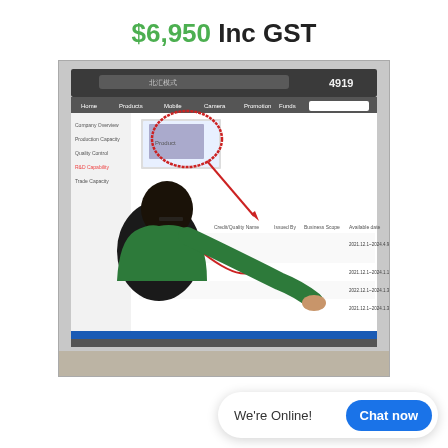$6,950 Inc GST
[Figure (photo): A person in a green shirt pointing at a large screen showing an Alibaba or similar e-commerce/supplier website interface with Chinese text, navigation menus, product images, and a data table. There are red hand-drawn circles and an arrow annotation on the screen. The number 4919 is visible in the upper right of the screen.]
We're Online!
Chat now